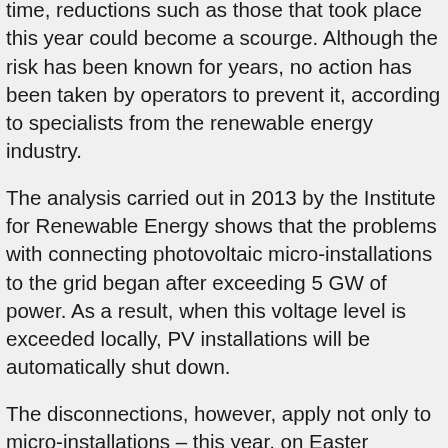time, reductions such as those that took place this year could become a scourge. Although the risk has been known for years, no action has been taken by operators to prevent it, according to specialists from the renewable energy industry.
The analysis carried out in 2013 by the Institute for Renewable Energy shows that the problems with connecting photovoltaic micro-installations to the grid began after exceeding 5 GW of power. As a result, when this voltage level is exceeded locally, PV installations will be automatically shut down.
The disconnections, however, apply not only to micro-installations – this year, on Easter Monday, favorable weather conditions managed to accumulate so much energy that Polish Power System (PSE) was forced to limit the production of wind farms for the first time. Due to the excess of energy in relation to the demand, the reduction of production in